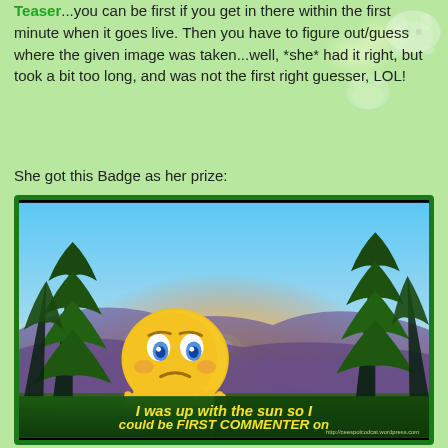Teaser...you can be first if you get in there within the first minute when it goes live. Then you have to figure out/guess where the given image was taken...well, *she* had it right, but took a bit too long, and was not the first right guesser, LOL!
She got this Badge as her prize:
[Figure (illustration): Badge image showing a mountain sunrise landscape with tall evergreen trees, a sad/worried emoji character peeking over a dark green banner that reads 'I was up with the sun so I could be FIRST COMMENTER on the Teaser !!' in yellow/white text. URL watermark: http://ceespolcodcat.wordpress.com]